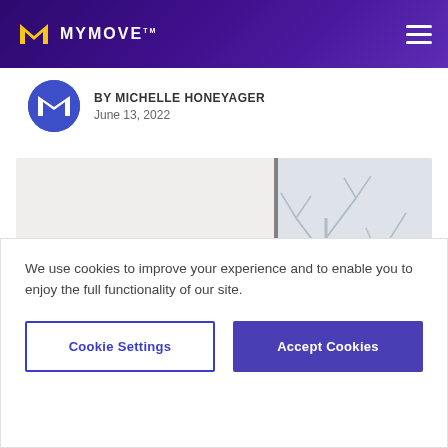MYMOVE
BY MICHELLE HONEYAGER
June 13, 2022
[Figure (photo): Interior bathroom scene with white wall-mounted shelving unit containing decorative items and a circular clock, with a large mirror reflecting bare winter trees outside]
We use cookies to improve your experience and to enable you to enjoy the full functionality of our site.
Cookie Settings | Accept Cookies